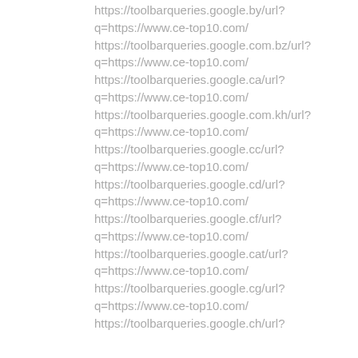https://toolbarqueries.google.by/url?q=https://www.ce-top10.com/
https://toolbarqueries.google.com.bz/url?q=https://www.ce-top10.com/
https://toolbarqueries.google.ca/url?q=https://www.ce-top10.com/
https://toolbarqueries.google.com.kh/url?q=https://www.ce-top10.com/
https://toolbarqueries.google.cc/url?q=https://www.ce-top10.com/
https://toolbarqueries.google.cd/url?q=https://www.ce-top10.com/
https://toolbarqueries.google.cf/url?q=https://www.ce-top10.com/
https://toolbarqueries.google.cat/url?q=https://www.ce-top10.com/
https://toolbarqueries.google.cg/url?q=https://www.ce-top10.com/
https://toolbarqueries.google.ch/url?